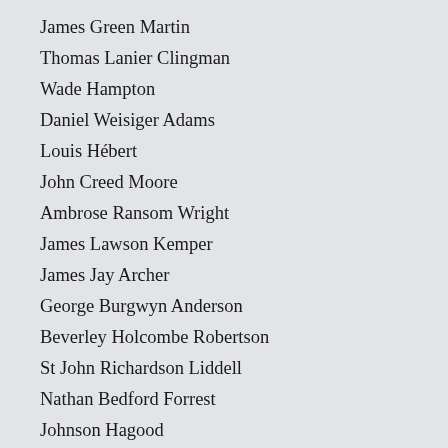James Green Martin
Thomas Lanier Clingman
Wade Hampton
Daniel Weisiger Adams
Louis Hébert
John Creed Moore
Ambrose Ransom Wright
James Lawson Kemper
James Jay Archer
George Burgwyn Anderson
Beverley Holcombe Robertson
St John Richardson Liddell
Nathan Bedford Forrest
Johnson Hagood